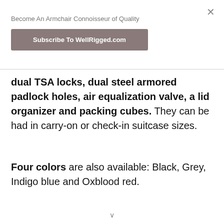Become An Armchair Connoisseur of Quality
Subscribe To WellRigged.com
dual TSA locks, dual steel armored padlock holes, air equalization valve, a lid organizer and packing cubes. They can be had in carry-on or check-in suitcase sizes.
Four colors are also available: Black, Grey, Indigo blue and Oxblood red.